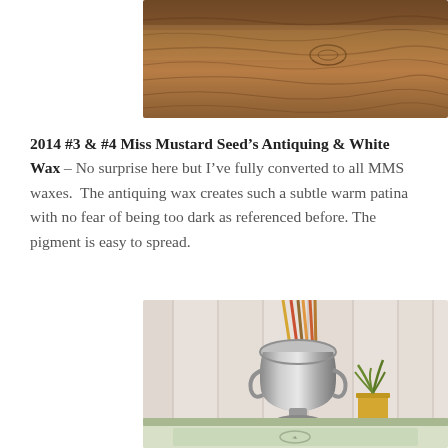[Figure (photo): Close-up photo of a wood surface with grain texture, warm brown tones.]
2014 #3 & #4 Miss Mustard Seed's Antiquing & White Wax – No surprise here but I've fully converted to all MMS waxes.  The antiquing wax creates such a subtle warm patina with no fear of being too dark as referenced before. The pigment is easy to spread.
[Figure (photo): Photo of a decorative silver metal urn/vase with colorful sticks/rods inside it, a small green plant in a yellow terracotta pot beside it, all on a pale green painted table, against a whitewashed plank wall background.]